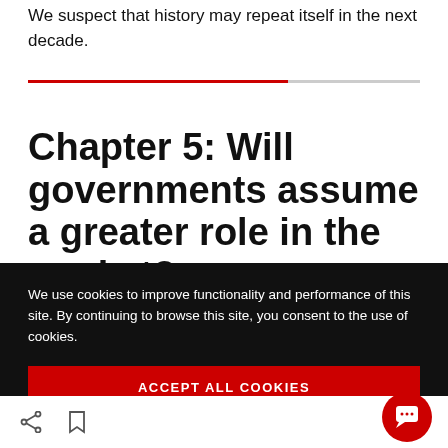We suspect that history may repeat itself in the next decade.
Chapter 5: Will governments assume a greater role in the market?
We use cookies to improve functionality and performance of this site. By continuing to browse this site, you consent to the use of cookies.
ACCEPT ALL COOKIES